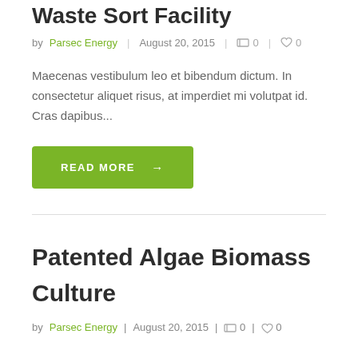Waste Sort Facility
by Parsec Energy | August 20, 2015 | 0 | 0
Maecenas vestibulum leo et bibendum dictum. In consectetur aliquet risus, at imperdiet mi volutpat id. Cras dapibus...
READ MORE →
Patented Algae Biomass Culture
by Parsec Energy | August 20, 2015 | 0 | 0